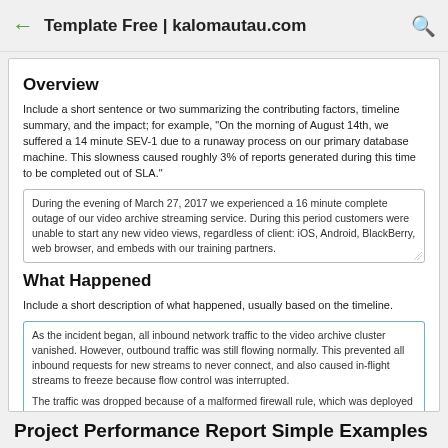Template Free | kalomautau.com
Overview
Include a short sentence or two summarizing the contributing factors, timeline summary, and the impact; for example, "On the morning of August 14th, we suffered a 14 minute SEV-1 due to a runaway process on our primary database machine. This slowness caused roughly 3% of reports generated during this time to be completed out of SLA."
During the evening of March 27, 2017 we experienced a 16 minute complete outage of our video archive streaming service. During this period customers were unable to start any new video views, regardless of client: iOS, Android, BlackBerry, web browser, and embeds with our training partners.
What Happened
Include a short description of what happened, usually based on the timeline.
As the incident began, all inbound network traffic to the video archive cluster vanished. However, outbound traffic was still flowing normally. This prevented all inbound requests for new streams to never connect, and also caused in-flight streams to freeze because flow control was interrupted.

The traffic was dropped because of a malformed firewall rule, which was deployed coincident with the onset of the outage. Streaming facilities were restored after the stream failures were tracked down to the firewall, and the update rules were reverted.
Project Performance Report Simple Examples